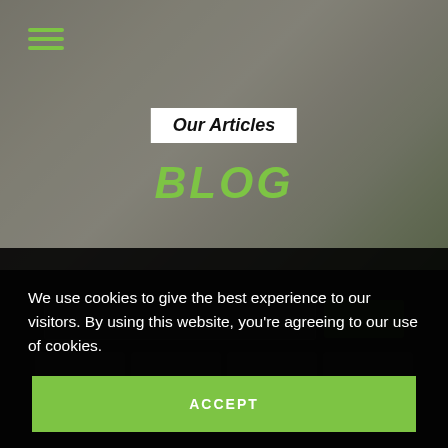[Figure (photo): Hero section with a woman relaxing on a couch in a living room, image overlaid with dark tint. Green hamburger menu icon in top left.]
Our Articles
BLOG
We use cookies to give the best experience to our visitors. By using this website, you're agreeing to our use of cookies.
ACCEPT